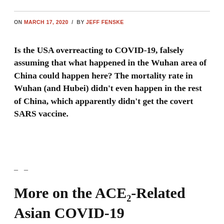ON MARCH 17, 2020 / BY JEFF FENSKE
Is the USA overreacting to COVID-19, falsely assuming that what happened in the Wuhan area of China could happen here? The mortality rate in Wuhan (and Hubei) didn't even happen in the rest of China, which apparently didn't get the covert SARS vaccine.
– –
More on the ACE2-Related Asian COVID-19 Susceptibility